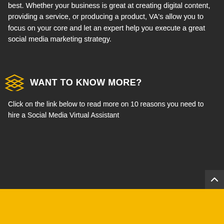best. Whether your business is great at creating digital content, providing a service, or producing a product, VA's allow you to focus on your core and let an expert help you execute a great social media marketing strategy.
WANT TO KNOW MORE?
Click on the link below to read more on 10 reasons you need to hire a Social Media Virtual Assistant
READ MORE